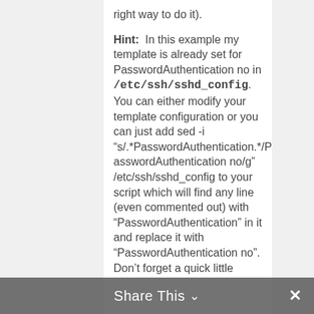right way to do it).
Hint:  In this example my template is already set for PasswordAuthentication no in /etc/ssh/sshd_config. You can either modify your template configuration or you can just add sed -i "s/.*PasswordAuthentication.*/PasswordAuthentication no/g" /etc/ssh/sshd_config to your script which will find any line (even commented out) with "PasswordAuthentication" in it and replace it with "PasswordAuthentication no". Don't forget a quick little
Share This ∨  ✕